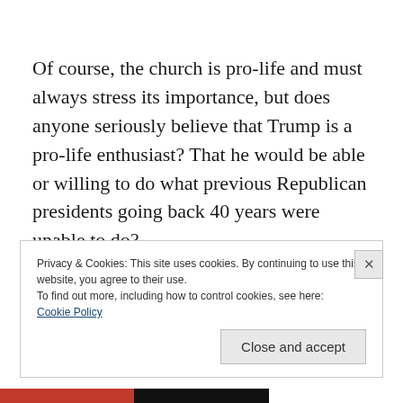Of course, the church is pro-life and must always stress its importance, but does anyone seriously believe that Trump is a pro-life enthusiast? That he would be able or willing to do what previous Republican presidents going back 40 years were unable to do?
Privacy & Cookies: This site uses cookies. By continuing to use this website, you agree to their use.
To find out more, including how to control cookies, see here:
Cookie Policy